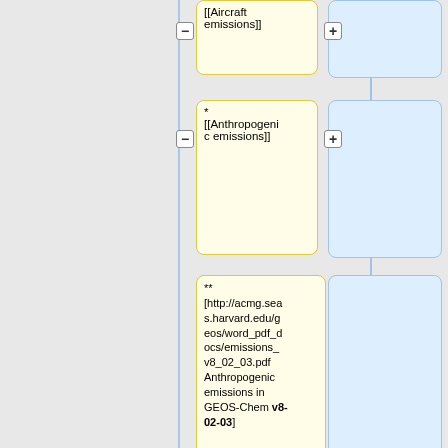* [[Aircraft emissions]]
* [[Anthropogenic emissions]]
** [http://acmg.seas.harvard.edu/geos/word_pdf_docs/emissions_v8_02_03.pdf Anthropogenic emissions in GEOS-Chem v8-02-03]
** [http://wiki.seas.harvard.edu/geos-chem/images/Anth_emiss_gc_